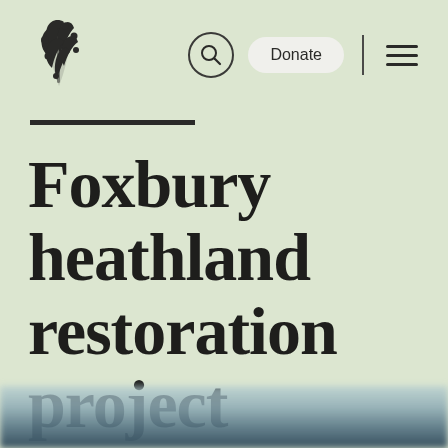[Figure (logo): Oak leaf/branch logo icon in dark color]
Donate  ☰
Foxbury heathland restoration project
[Figure (photo): Blurred landscape photograph at bottom of page, showing heathland or countryside scene in muted blue-grey tones]